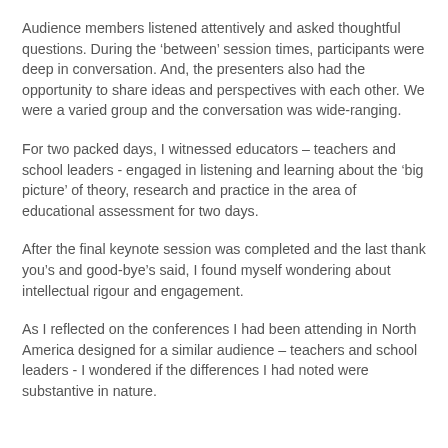Audience members listened attentively and asked thoughtful questions. During the ‘between’ session times, participants were deep in conversation. And, the presenters also had the opportunity to share ideas and perspectives with each other. We were a varied group and the conversation was wide-ranging.
For two packed days, I witnessed educators – teachers and school leaders - engaged in listening and learning about the ‘big picture’ of theory, research and practice in the area of educational assessment for two days.
After the final keynote session was completed and the last thank you’s and good-bye’s said, I found myself wondering about intellectual rigour and engagement.
As I reflected on the conferences I had been attending in North America designed for a similar audience – teachers and school leaders - I wondered if the differences I had noted were substantive in nature.